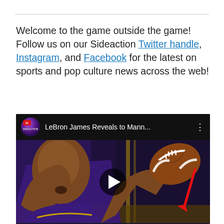Welcome to the game outside the game! Follow us on our Sideaction Twitter handle, Instagram, and Facebook for the latest on sports and pop culture news across the web!
[Figure (screenshot): Embedded YouTube video player showing LeBron James holding a football, with the Sideaction channel logo, title 'LeBron James Reveals to Mann...' and a play button overlay with a red arrow annotation.]